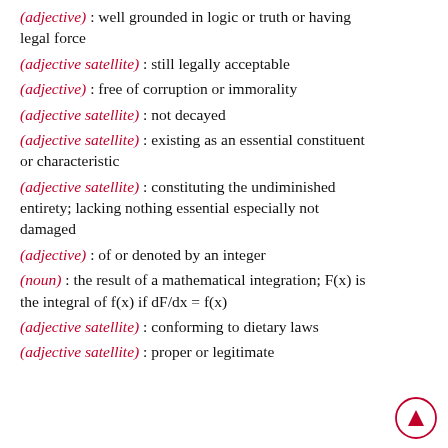(adjective): well grounded in logic or truth or having legal force
(adjective satellite): still legally acceptable
(adjective): free of corruption or immorality
(adjective satellite): not decayed
(adjective satellite): existing as an essential constituent or characteristic
(adjective satellite): constituting the undiminished entirety; lacking nothing essential especially not damaged
(adjective): of or denoted by an integer
(noun): the result of a mathematical integration; F(x) is the integral of f(x) if dF/dx = f(x)
(adjective satellite): conforming to dietary laws
(adjective satellite): proper or legitimate